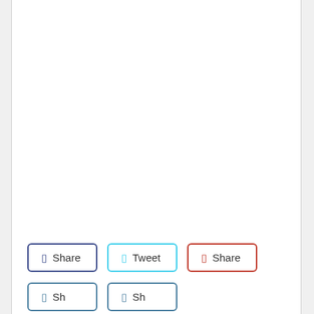[Figure (screenshot): Social media share/tweet buttons: a Facebook Share button with dark blue border, a Tweet button with cyan border, a Google+ Share button with red border, and two more partially visible Share buttons with teal borders at the bottom.]